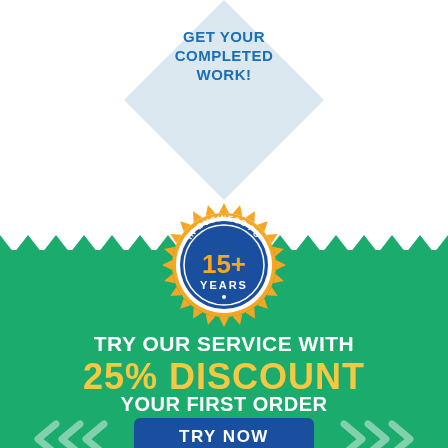[Figure (illustration): Diamond shape with text 'GET YOUR COMPLETED WORK!' in blue, on a light blue/gray diamond polygon background]
[Figure (infographic): Circular badge with orange sunburst border, blue circle interior. Text: 'IN BUSINESS FOR' (arc top), '15+' (large orange center), 'YEARS' (below 15+)]
TRY OUR SERVICE WITH
25% DISCOUNT
YOUR FIRST ORDER
TRY NOW